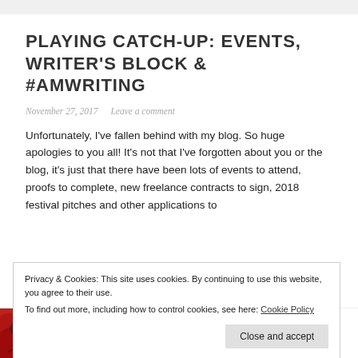PLAYING CATCH-UP: EVENTS, WRITER'S BLOCK & #AMWRITING
November 27, 2017   Leave a comment
Unfortunately, I've fallen behind with my blog. So huge apologies to you all! It's not that I've forgotten about you or the blog, it's just that there have been lots of events to attend, proofs to complete, new freelance contracts to sign, 2018 festival pitches and other applications to
Privacy & Cookies: This site uses cookies. By continuing to use this website, you agree to their use.
To find out more, including how to control cookies, see here: Cookie Policy
Close and accept
The good news is: The